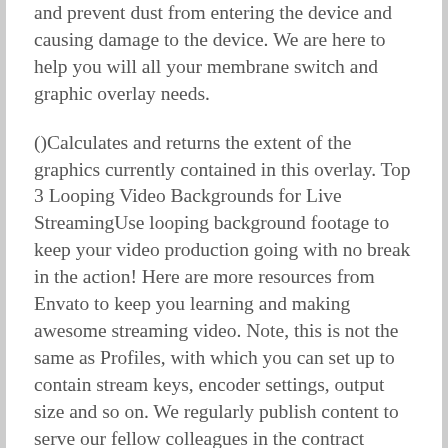and prevent dust from entering the device and causing damage to the device. We are here to help you will all your membrane switch and graphic overlay needs.
()Calculates and returns the extent of the graphics currently contained in this overlay. Top 3 Looping Video Backgrounds for Live StreamingUse looping background footage to keep your video production going with no break in the action! Here are more resources from Envato to keep you learning and making awesome streaming video. Note, this is not the same as Profiles, with which you can set up to contain stream keys, encoder settings, output size and so on. We regularly publish content to serve our fellow colleagues in the contract manufacturing industry. We can assist in everything from assembly to testing to the delivery of ready-to-install machine interface units. And when you work with Tapecon, you can count on exceptional attention to detail and quality every step of the way. Provides a quality experience for a